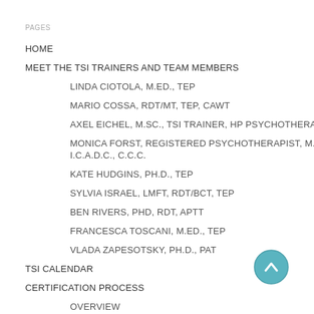PAGES
HOME
MEET THE TSI TRAINERS AND TEAM MEMBERS
LINDA CIOTOLA, M.ED., TEP
MARIO COSSA, RDT/MT, TEP, CAWT
AXEL EICHEL, M.SC., TSI TRAINER, HP PSYCHOTHERAPY
MONICA FORST, REGISTERED PSYCHOTHERAPIST, M.ED. I.C.A.D.C., C.C.C.
KATE HUDGINS, PH.D., TEP
SYLVIA ISRAEL, LMFT, RDT/BCT, TEP
BEN RIVERS, PHD, RDT, APTT
FRANCESCA TOSCANI, M.ED., TEP
VLADA ZAPESOTSKY, PH.D., PAT
TSI CALENDAR
CERTIFICATION PROCESS
OVERVIEW
LEVEL I: INTRO TO THEORY
LEVEL II: ADVANCED THEORY AND PRACTICE